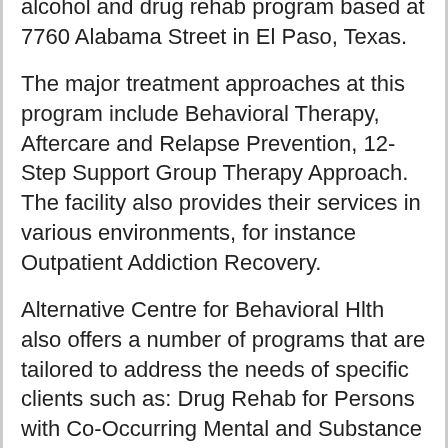alcohol and drug rehab program based at 7760 Alabama Street in El Paso, Texas.
The major treatment approaches at this program include Behavioral Therapy, Aftercare and Relapse Prevention, 12-Step Support Group Therapy Approach. The facility also provides their services in various environments, for instance Outpatient Addiction Recovery.
Alternative Centre for Behavioral Hlth also offers a number of programs that are tailored to address the needs of specific clients such as: Drug Rehab for Persons with Co-Occurring Mental and Substance Use Disorders, Drug Rehab for Lesbian, Gay, Bisexual, Or Transgender (LGBT) Clients,